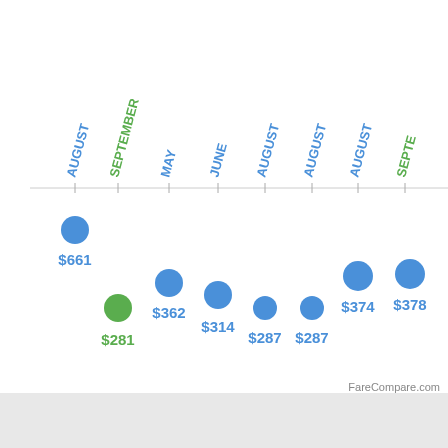[Figure (scatter-plot): Flight fare scatter plot by month]
FareCompare.com